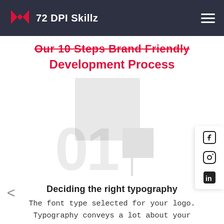72 DPI Skillz
Our 10 Steps Brand Friendly Development Process
[Figure (illustration): Decorative two overlapping light grey squares with a large faded '01' step number watermark behind them, representing step one of the process.]
[Figure (illustration): Social media sidebar with Facebook, Instagram, and LinkedIn icons on a white card on the right side.]
Deciding the right typography
The font type selected for your logo. Typography conveys a lot about your brand.